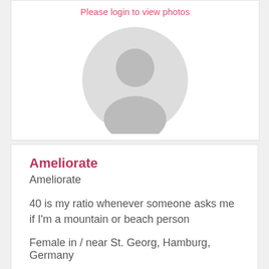[Figure (photo): Profile photo placeholder with a grey silhouette avatar. Text above reads 'Please login to view photos' in pink/red.]
Ameliorate
Ameliorate
40 is my ratio whenever someone asks me if I'm a mountain or beach person
Female in / near St. Georg, Hamburg, Germany